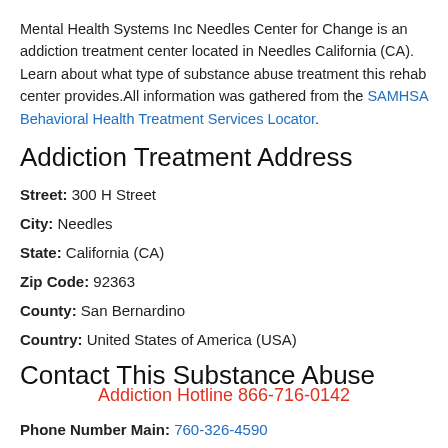Mental Health Systems Inc Needles Center for Change is an addiction treatment center located in Needles California (CA). Learn about what type of substance abuse treatment this rehab center provides.All information was gathered from the SAMHSA Behavioral Health Treatment Services Locator.
Addiction Treatment Address
Street: 300 H Street
City: Needles
State: California (CA)
Zip Code: 92363
County: San Bernardino
Country: United States of America (USA)
Contact This Substance Abuse
Addiction Hotline 866-716-0142
Phone Number Main: 760-326-4590